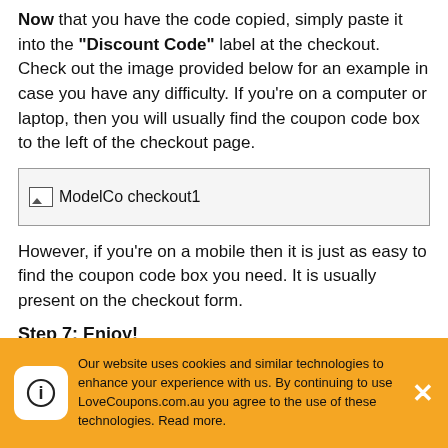Now that you have the code copied, simply paste it into the "Discount Code" label at the checkout. Check out the image provided below for an example in case you have any difficulty. If you're on a computer or laptop, then you will usually find the coupon code box to the left of the checkout page.
[Figure (screenshot): ModelCo checkout1 image placeholder]
However, if you're on a mobile then it is just as easy to find the coupon code box you need. It is usually present on the checkout form.
Step 7: Enjoy!
Your discount will be applied and items will
Our website uses cookies and similar technologies to enhance your experience with us. By continuing to use LoveCoupons.com.au you agree to the use of these technologies. Read more.